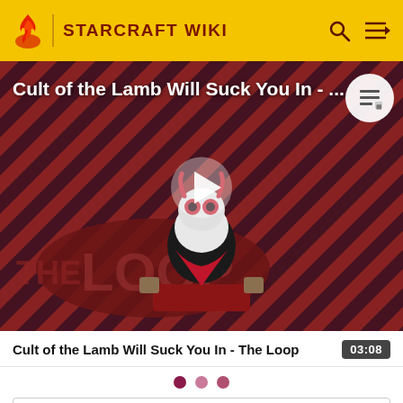STARCRAFT WIKI
[Figure (screenshot): Video thumbnail for 'Cult of the Lamb Will Suck You In - The Loop' showing a cartoon lamb character with red eyes standing on a red platform, with a striped red-black diagonal background and 'THE LOOP' text overlay, with a play button in the center.]
Cult of the Lamb Will Suck You In - The Loop
03:08
• • •